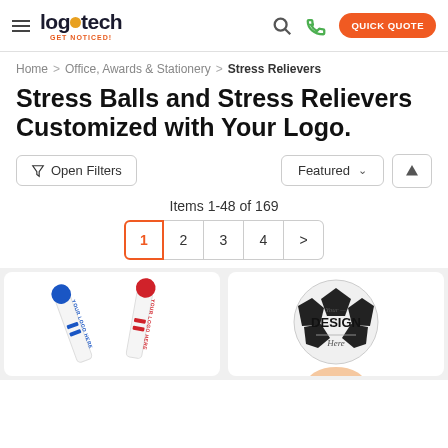logotech GET NOTICED! | Search | Phone | QUICK QUOTE
Home > Office, Awards & Stationery > Stress Relievers
Stress Balls and Stress Relievers Customized with Your Logo.
Open Filters | Featured | (up arrow)
Items 1-48 of 169
1 2 3 4 >
[Figure (photo): Two customized stress ball pens with 'YOUR LOGO HERE' printed on them, one blue and one red.]
[Figure (photo): A hand holding a soccer ball stress reliever with 'Your DESIGN Here' text printed on it.]